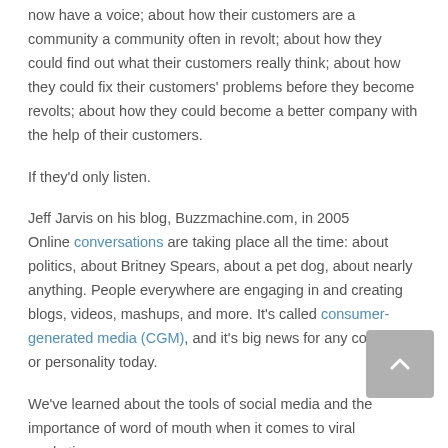now have a voice; about how their customers are a community a community often in revolt; about how they could find out what their customers really think; about how they could fix their customers' problems before they become revolts; about how they could become a better company with the help of their customers.
If they'd only listen.
Jeff Jarvis on his blog, Buzzmachine.com, in 2005
Online conversations are taking place all the time: about politics, about Britney Spears, about a pet dog, about nearly anything. People everywhere are engaging in and creating blogs, videos, mashups, and more. It's called consumer-generated media (CGM), and it's big news for any company or personality today.
We've learned about the tools of social media and the importance of word of mouth when it comes to viral marketing